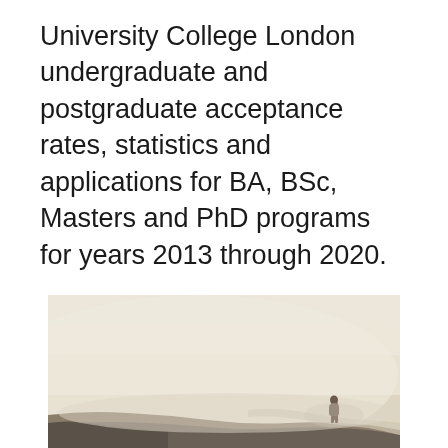University College London undergraduate and postgraduate acceptance rates, statistics and applications for BA, BSc, Masters and PhD programs for years 2013 through 2020.
[Figure (photo): A misty, foggy landscape with a lone silhouetted figure standing on a hillside. The scene is heavily obscured by thick fog, with the ground featuring rocky terrain. The overall tone is sepia/beige.]